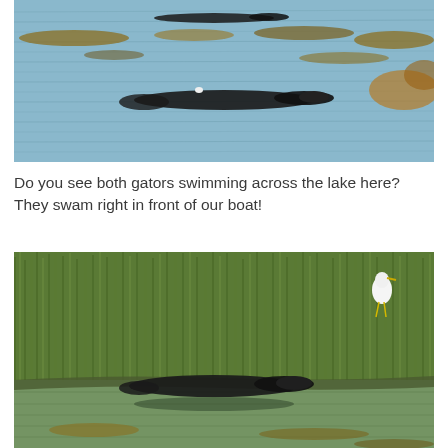[Figure (photo): Two alligators swimming across a lake with rippled blue-gray water and patches of aquatic vegetation floating on the surface. The gators are visible as dark elongated shapes partially submerged.]
Do you see both gators swimming across the lake here? They swam right in front of our boat!
[Figure (photo): An alligator resting at the edge of a grassy marsh area with tall green reeds/grass in the background. A white egret is perched on top of the grass on the right side. The water is murky green-brown with reflected vegetation.]